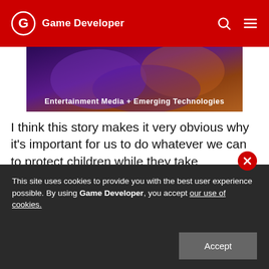Game Developer
[Figure (photo): Dark purple and orange gaming event image with text overlay: Entertainment Media + Emerging Technologies]
Entertainment Media + Emerging Technologies
I think this story makes it very obvious why it's important for us to do whatever we can to protect children while they take advantage of all the good things today's technology offers. Here's her story:
“We spend a lot of time talking about personably identifiable information (PII) and when you can and can’t collect it, but talking about it as an acronym doesn’t get to the
This site uses cookies to provide you with the best user experience possible. By using Game Developer, you accept our use of cookies.